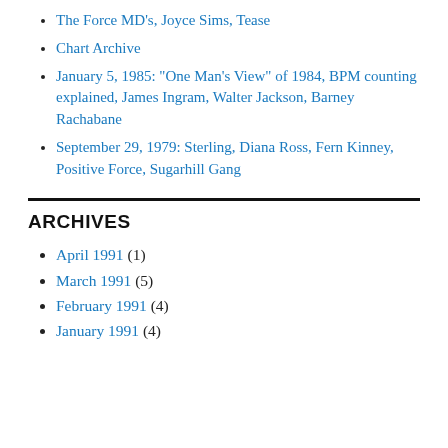The Force MD's, Joyce Sims, Tease
Chart Archive
January 5, 1985: "One Man's View" of 1984, BPM counting explained, James Ingram, Walter Jackson, Barney Rachabane
September 29, 1979: Sterling, Diana Ross, Fern Kinney, Positive Force, Sugarhill Gang
ARCHIVES
April 1991 (1)
March 1991 (5)
February 1991 (4)
January 1991 (4)